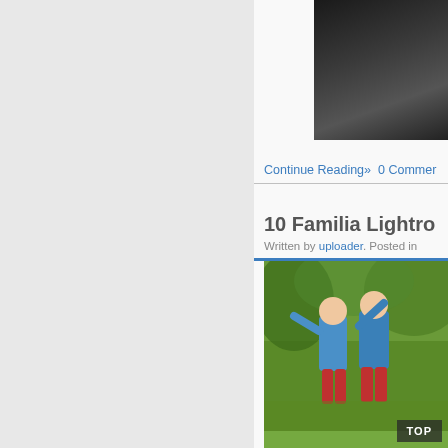[Figure (photo): Dark forest or nature photo, partially visible at top right]
Continue Reading» 0 Commer...
10 Familia Lightro...
Written by uploader. Posted in...
[Figure (photo): Two children in colorful raincoats playing outdoors in green field]
[Figure (photo): Family with mother and child in a field with red flowers]
TOP